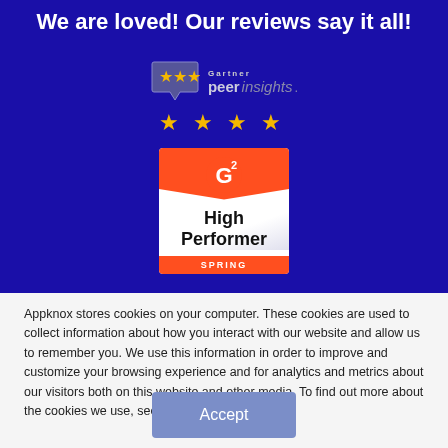We are loved! Our reviews say it all!
[Figure (logo): Gartner Peer Insights badge with star icons and 5-star rating row]
[Figure (logo): G2 High Performer Spring badge]
Appknox stores cookies on your computer. These cookies are used to collect information about how you interact with our website and allow us to remember you. We use this information in order to improve and customize your browsing experience and for analytics and metrics about our visitors both on this website and other media. To find out more about the cookies we use, see our Privacy Policy.
Accept